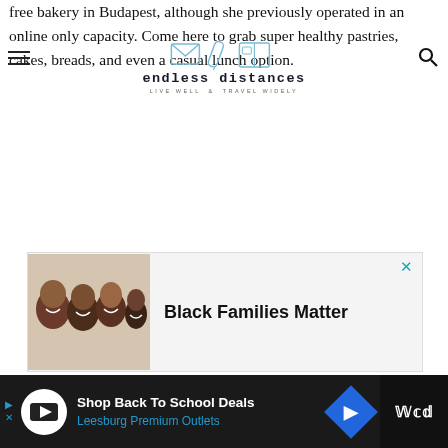endless distances — LIVE WELL & TRAVEL WIDELY
free bakery in Budapest, although she previously operated in an online only capacity. Come here to grab super healthy pastries, cakes, breads, and even a casual lunch option.
[Figure (advertisement): Ad banner with image of smiling family lying down, text 'Black Families Matter' with close X button]
[Figure (advertisement): Bottom dark bar ad: 'Shop Back To School Deals / Leesburg Premium Outlets' with navigation icon and brand logo on right]